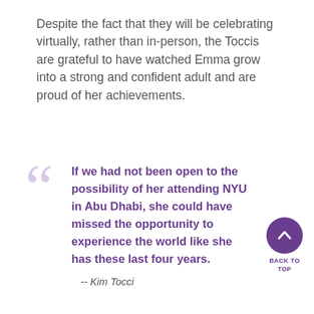Despite the fact that they will be celebrating virtually, rather than in-person, the Toccis are grateful to have watched Emma grow into a strong and confident adult and are proud of her achievements.
If we had not been open to the possibility of her attending NYU in Abu Dhabi, she could have missed the opportunity to experience the world like she has these last four years.
-- Kim Tocci